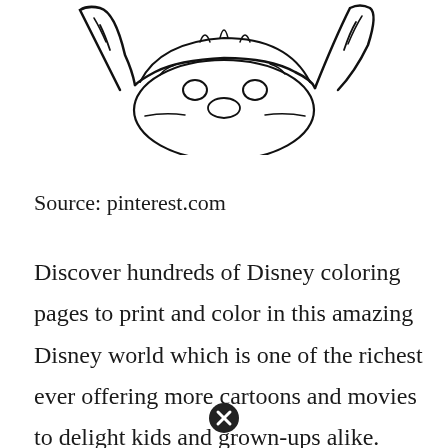[Figure (illustration): Partial line-art illustration of a Disney character (Stitch), showing the top portion with ears and head outline in black ink on white background]
Source: pinterest.com
Discover hundreds of Disney coloring pages to print and color in this amazing Disney world which is one of the richest ever offering more cartoons and movies to delight kids and grown-ups alike. Stitch